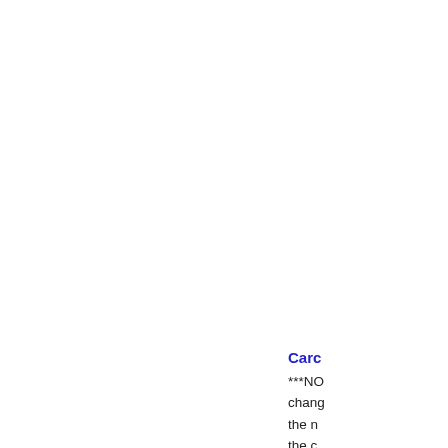Hold AWES friend
[Figure (illustration): Gold coin with a black spade symbol in the center]
Carc LIMIT game THOU Hold Texas users
[Figure (illustration): Green circular icon with playing cards (face cards) fanned out]
Carc ***NO chang the n the c scree